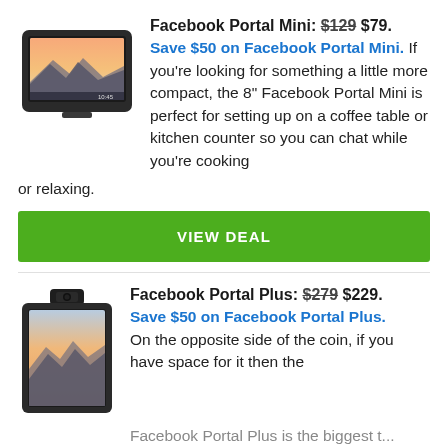Facebook Portal Mini: $129 $79. Save $50 on Facebook Portal Mini. If you're looking for something a little more compact, the 8" Facebook Portal Mini is perfect for setting up on a coffee table or kitchen counter so you can chat while you're cooking or relaxing.
[Figure (photo): Facebook Portal Mini device - a small tablet-like device with a landscape screen showing a sunset/mountain scene]
VIEW DEAL
Facebook Portal Plus: $279 $229. Save $50 on Facebook Portal Plus. On the opposite side of the coin, if you have space for it then the Facebook Portal Plus is the biggest...
[Figure (photo): Facebook Portal Plus device - a tall portrait-orientation tablet with camera on top showing a sunset/gradient screen]